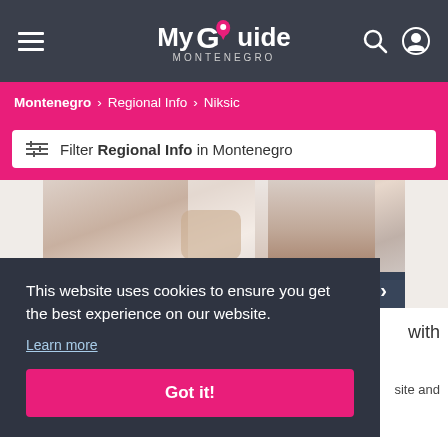My Guide Montenegro
Montenegro > Regional Info > Niksic
Filter Regional Info in Montenegro
[Figure (photo): Photo of a doctor or medical professional in a white coat with stethoscope, speaking to a patient]
Learn More
This website uses cookies to ensure you get the best experience on our website.
Learn more
Got it!
with
site and